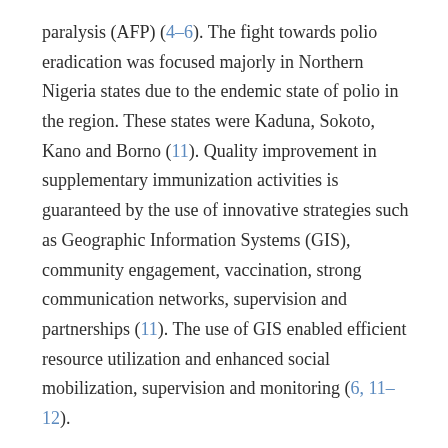paralysis (AFP) (4–6). The fight towards polio eradication was focused majorly in Northern Nigeria states due to the endemic state of polio in the region. These states were Kaduna, Sokoto, Kano and Borno (11). Quality improvement in supplementary immunization activities is guaranteed by the use of innovative strategies such as Geographic Information Systems (GIS), community engagement, vaccination, strong communication networks, supervision and partnerships (11). The use of GIS enabled efficient resource utilization and enhanced social mobilization, supervision and monitoring (6, 11–12).
The progress registered in response to the 2016 outbreak was made possible through good